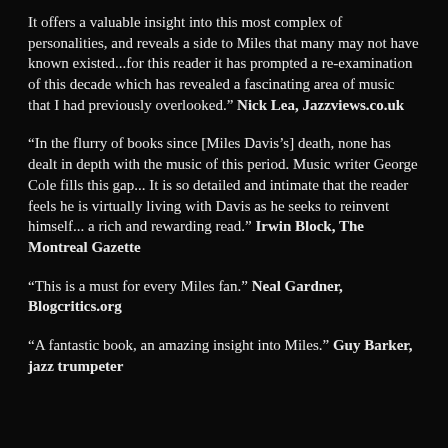It offers a valuable insight into this most complex of personalities, and reveals a side to Miles that many may not have known existed...for this reader it has prompted a re-examination of this decade which has revealed a fascinating area of music that I had previously overlooked." Nick Lea, Jazzviews.co.uk
"In the flurry of books since [Miles Davis's] death, none has dealt in depth with the music of this period. Music writer George Cole fills this gap... It is so detailed and intimate that the reader feels he is virtually living with Davis as he seeks to reinvent himself... a rich and rewarding read." Irwin Block, The Montreal Gazette
"This is a must for every Miles fan." Neal Gardner, Blogcritics.org
"A fantastic book, an amazing insight into Miles." Guy Barker, jazz trumpeter